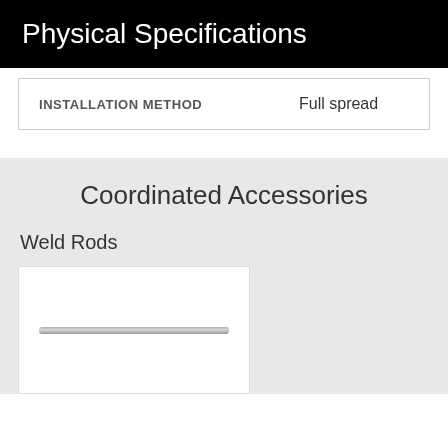Physical Specifications
| INSTALLATION METHOD | Full spread |
| --- | --- |
Coordinated Accessories
Weld Rods
[Figure (photo): A cylindrical weld rod shown horizontally against a white background]